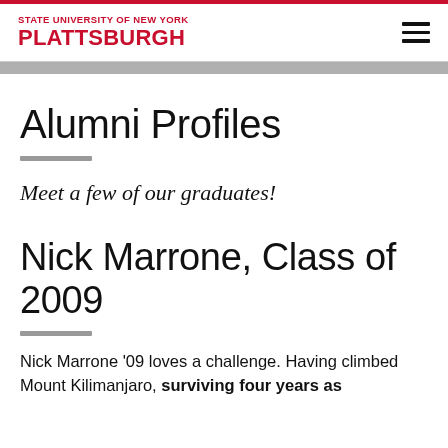STATE UNIVERSITY OF NEW YORK PLATTSBURGH
Alumni Profiles
Meet a few of our graduates!
Nick Marrone, Class of 2009
Nick Marrone '09 loves a challenge. Having climbed Mount Kilimanjaro, surviving four years as